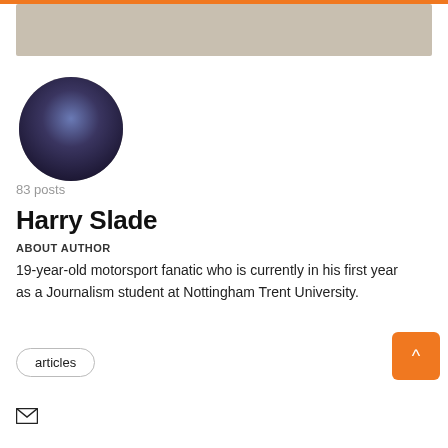[Figure (photo): Horizontal banner image with muted stone/concrete texture background]
[Figure (photo): Circular profile photo of a young man in a dark vest and white shirt, standing in a dimly lit event venue]
83 posts
Harry Slade
ABOUT AUTHOR
19-year-old motorsport fanatic who is currently in his first year as a Journalism student at Nottingham Trent University.
articles
[Figure (illustration): Mail/envelope icon]